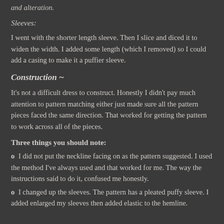and alteration.
Sleeves:
I went with the shorter length sleeve.  Then I slice and diced it to widen the width. I added some length (which I removed) so I could add a casing to make it a puffier sleeve.
Construction ~
It's not a difficult dress to construct.  Honestly I didn't pay much attention to pattern matching either just made sure all the pattern pieces faced the same direction. That worked for getting the pattern to work across all of the pieces.
Three things you should note:
o I did not put the neckline facing on as the pattern suggested.  I used the method I've always used and that worked for me. The way the instructions said to do it, confused me honestly.
o  I changed up the sleeves.  The pattern has a pleated puffy sleeve.  I added enlarged my sleeves then added elastic to the hemline.